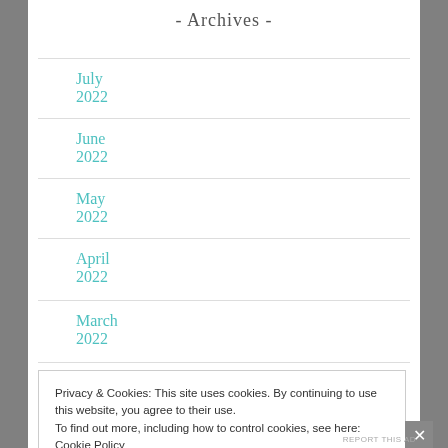- Archives -
July 2022
June 2022
May 2022
April 2022
March 2022
Privacy & Cookies: This site uses cookies. By continuing to use this website, you agree to their use. To find out more, including how to control cookies, see here: Cookie Policy
Close and accept